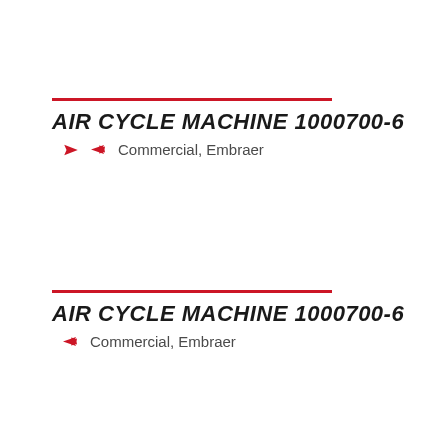AIR CYCLE MACHINE 1000700-6
Commercial, Embraer
AIR CYCLE MACHINE 1000700-6
Commercial, Embraer